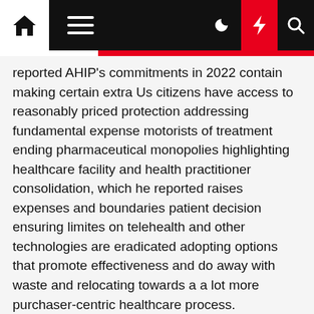Navigation bar with home, menu, moon, bolt, and search icons
reported AHIP's commitments in 2022 contain making certain extra Us citizens have access to reasonably priced protection addressing fundamental expense motorists of treatment ending pharmaceutical monopolies highlighting healthcare facility and health practitioner consolidation, which he reported raises expenses and boundaries patient decision ensuring limites on telehealth and other technologies are eradicated adopting options that promote effectiveness and do away with waste and relocating towards a a lot more purchaser-centric healthcare process.
"Our focus is squarely heading to be on the well being and wellbeing of Americans," reported Eyles. "Our motive for being is making sure People in america can stay their life to the fullest. All the